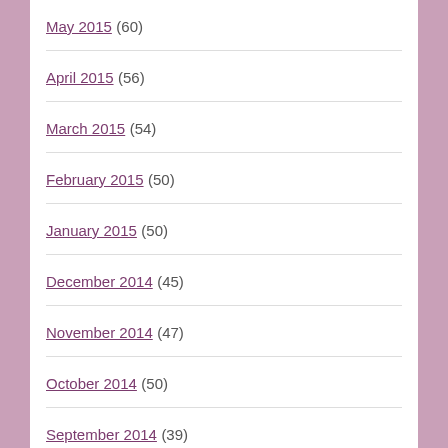May 2015 (60)
April 2015 (56)
March 2015 (54)
February 2015 (50)
January 2015 (50)
December 2014 (45)
November 2014 (47)
October 2014 (50)
September 2014 (39)
August 2014 (51)
July 2014 (47)